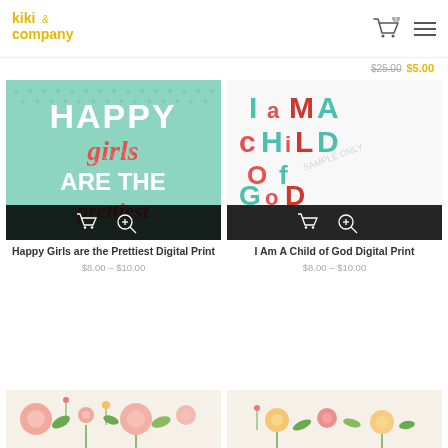[Figure (logo): Kiki & Company logo in gold/yellow text]
$25.00 $5.00
[Figure (screenshot): Happy Girls are the Prettiest digital print product image on mint green background]
[Figure (screenshot): I Am A Child of God digital print product image with teal and coral text]
Happy Girls are the Prettiest Digital Print
I Am A Child of God Digital Print
$8.00 – $10.00
$8.00 – $10.00
[Figure (illustration): Floral pattern product image bottom left]
[Figure (illustration): Floral pattern product image bottom right]